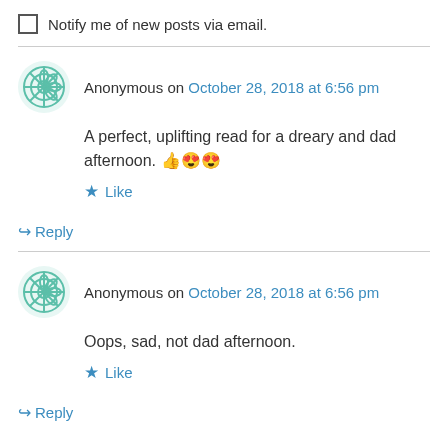Notify me of new posts via email.
Anonymous on October 28, 2018 at 6:56 pm
A perfect, uplifting read for a dreary and dad afternoon. 👍😍😍
Like
Reply
Anonymous on October 28, 2018 at 6:56 pm
Oops, sad, not dad afternoon.
Like
Reply